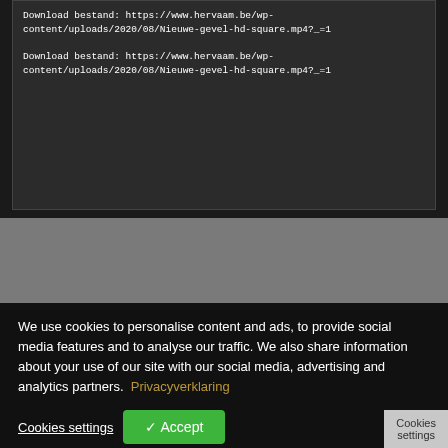[Figure (screenshot): Dark terminal/code panel showing two download URLs for a video file (Nieuwe-gevel-hd-square.mp4?_=1) from hervaam.be]
HerVaaM Group bvba • 2022. All rights reserved.
We use cookies to personalise content and ads, to provide social media features and to analyse our traffic. We also share information about your use of our site with our social media, advertising and analytics partners. Privacyverklaring
Cookies settings  ✓ Accept  Cookies settings